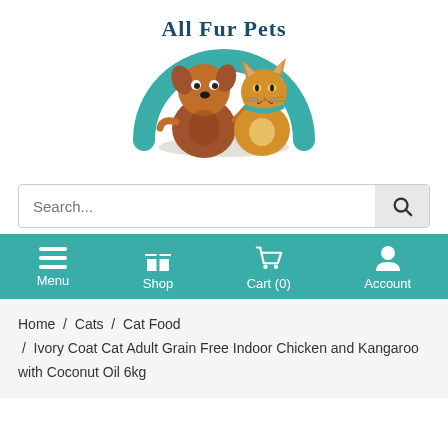[Figure (logo): All Fur Pets logo with cartoon dog and cat under a teal arch, text 'All Fur Pets' in dark teal curved above]
[Figure (screenshot): Search bar with placeholder text 'Search...' and a search button]
[Figure (screenshot): Teal navigation bar with Menu, Shop, Cart (0), and Account icons and labels]
Home / Cats / Cat Food / Ivory Coat Cat Adult Grain Free Indoor Chicken and Kangaroo with Coconut Oil 6kg